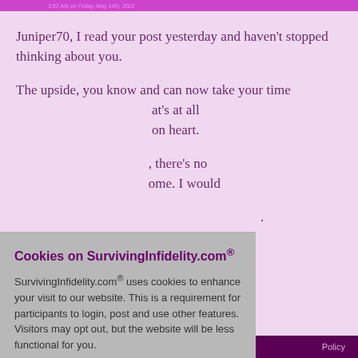3:52 AM on Friday, May 14th, 2021
Juniper70, I read your post yesterday and haven't stopped thinking about you.
The upside, you know and can now take your time ... at's at all ... on heart.
... there's no ... ome. I would ...
...
... thinking of ...
[Figure (screenshot): Cookie consent overlay dialog for SurvivingInfidelity.com with title 'Cookies on SurvivingInfidelity.com®', explanatory text about cookies, and three buttons: accept, decline, about cookies]
Policy